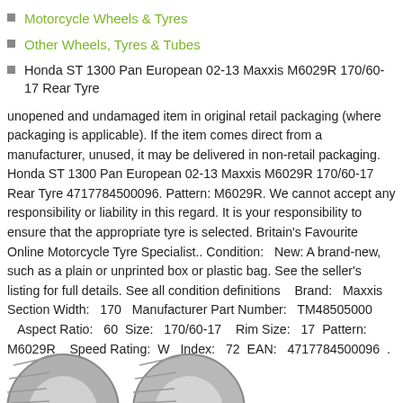Motorcycle Wheels & Tyres
Other Wheels, Tyres & Tubes
Honda ST 1300 Pan European 02-13 Maxxis M6029R 170/60-17 Rear Tyre
unopened and undamaged item in original retail packaging (where packaging is applicable). If the item comes direct from a manufacturer, unused, it may be delivered in non-retail packaging. Honda ST 1300 Pan European 02-13 Maxxis M6029R 170/60-17 Rear Tyre 4717784500096. Pattern: M6029R. We cannot accept any responsibility or liability in this regard. It is your responsibility to ensure that the appropriate tyre is selected. Britain's Favourite Online Motorcycle Tyre Specialist.. Condition:   New: A brand-new, such as a plain or unprinted box or plastic bag. See the seller's listing for full details. See all condition definitions   Brand:   Maxxis   Section Width:   170   Manufacturer Part Number:   TM48505000   Aspect Ratio:   60  Size:   170/60-17   Rim Size:   17  Pattern:   M6029R   Speed Rating:  W  Index:   72  EAN:   4717784500096  .
[Figure (photo): Partial view of two motorcycle tyre images at the bottom of the page]